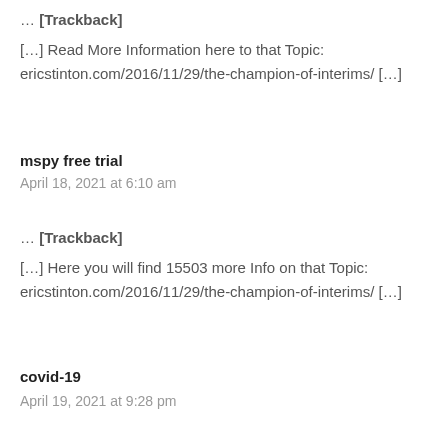… [Trackback]
[…] Read More Information here to that Topic: ericstinton.com/2016/11/29/the-champion-of-interims/ […]
mspy free trial
April 18, 2021 at 6:10 am
… [Trackback]
[…] Here you will find 15503 more Info on that Topic: ericstinton.com/2016/11/29/the-champion-of-interims/ […]
covid-19
April 19, 2021 at 9:28 pm